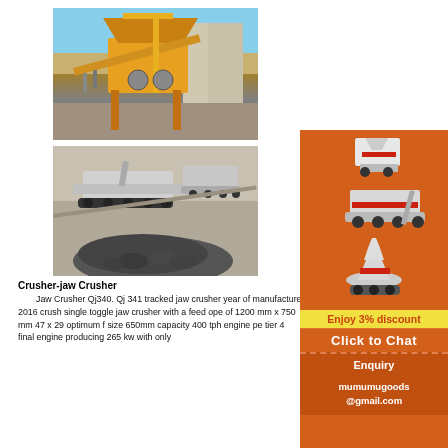[Figure (photo): Industrial jaw crusher machine on construction site, yellow equipment with metal framework]
[Figure (photo): Mobile jaw crusher on tracks with pile of crushed rock/gravel in foreground, black and white photo]
Crusher-jaw Crusher
Jaw Crusher Qj340. Qj 341 tracked jaw crusher year of manufacture 2016 crusher single toggle jaw crusher with a feed opening of 1200 mm x 750 mm 47 x 29 optimum feed size 650mm capacity 400 tph engine pe tier 4 final engine producing 265 kw with only
[Figure (illustration): Sidebar advertisement showing mining/crushing equipment illustrations on orange background]
Enjoy 3% discount
Click to Chat
Enquiry
mumumugoods@gmail.com